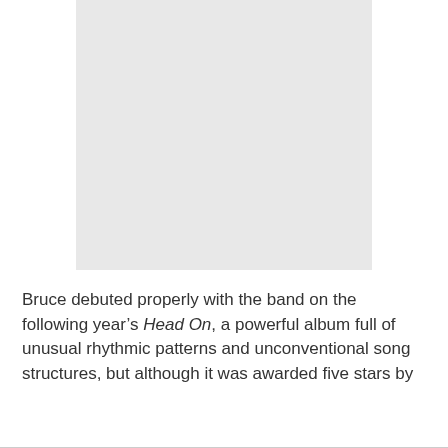[Figure (photo): A light grey rectangular placeholder image occupying the upper portion of the page.]
Bruce debuted properly with the band on the following year’s Head On, a powerful album full of unusual rhythmic patterns and unconventional song structures, but although it was awarded five stars by